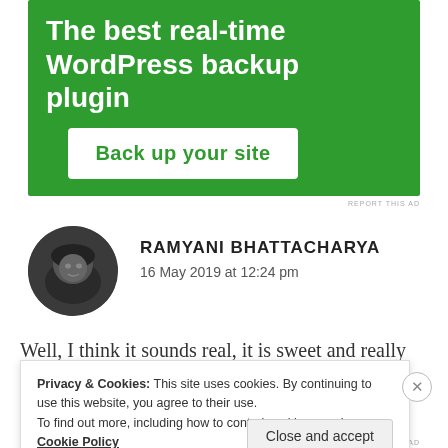[Figure (illustration): Green advertisement banner for WordPress backup plugin with white text and a white button reading 'Back up your site']
REPORT THIS AD
[Figure (photo): Circular avatar photo of Ramyani Bhattacharya, a person lying down, dark hair, looking at camera]
RAMYANI BHATTACHARYA
16 May 2019 at 12:24 pm
Well, I think it sounds real, it is sweet and really the
Privacy & Cookies: This site uses cookies. By continuing to use this website, you agree to their use.
To find out more, including how to control cookies, see here: Cookie Policy
Close and accept
REPORT THIS AD